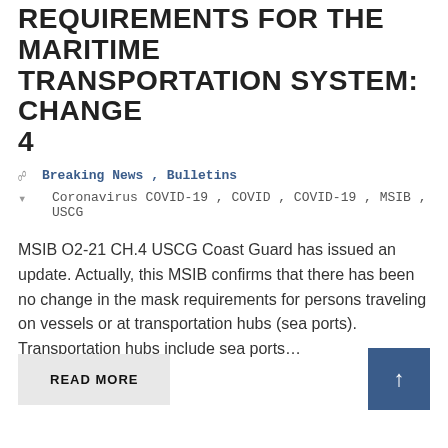REQUIREMENTS FOR THE MARITIME TRANSPORTATION SYSTEM: CHANGE 4
Breaking News , Bulletins
Coronavirus COVID-19, COVID, COVID-19, MSIB, USCG
MSIB O2-21 CH.4 USCG Coast Guard has issued an update.  Actually, this MSIB confirms that there has been no change in the mask requirements for persons traveling on vessels or at transportation hubs (sea ports). Transportation hubs include sea ports...
READ MORE